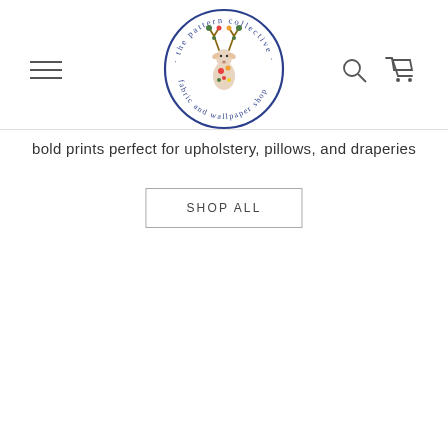[Figure (logo): The Pattern Collective fabric and wallpaper shop circular logo with a floral deer illustration in the center, text arranged in a circle around it in navy blue]
bold prints perfect for upholstery, pillows, and draperies
SHOP ALL